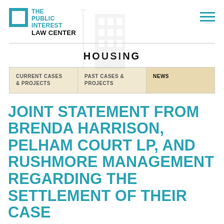THE PUBLIC INTEREST LAW CENTER
HOUSING
CURRENT CASES & PROJECTS
PAST CASES & PROJECTS
NEWS
JOINT STATEMENT FROM BRENDA HARRISON, PELHAM COURT LP, AND RUSHMORE MANAGEMENT REGARDING THE SETTLEMENT OF THEIR CASE